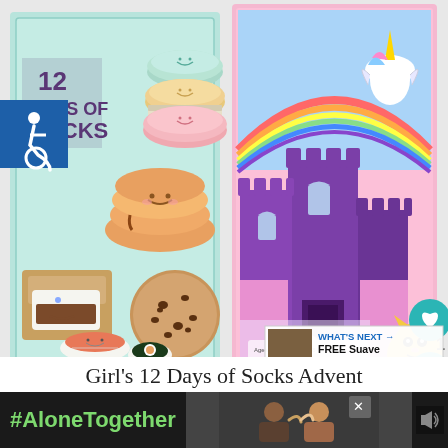[Figure (photo): Product photo showing two children's advent calendar sock boxes. Left box has kawaii/food themed design on mint green background with cute food characters (macarons, cookies, s'mores, sushi). Right box has unicorn/castle themed design on pink background with purple castle, rainbow, and unicorns. An accessibility icon (blue square with wheelchair symbol) is overlaid top-left. Heart/like button (teal circle), share button (teal circle), and like count '1' are visible on the right side. A 'What's Next' panel with thumbnail shows 'FREE Suave Gold Infusio...' in the bottom-right corner. A yellow/orange cat plush toy is partially visible bottom-right.]
Girl's 12 Days of Socks Advent
[Figure (screenshot): Ad banner at bottom of page with black background. Shows '#AloneTogether' text in green, a photo of two people video chatting (Black man and Black woman waving), and an X close button. A muted/speaker icon visible at right.]